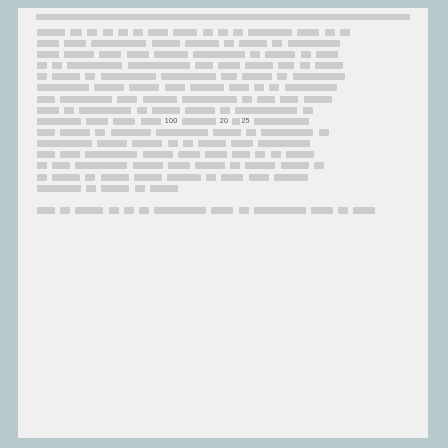[Redacted legal document text with numbers 100, 20, and 25 visible among heavily redacted content spanning approximately 16 lines of body text and 2 lines at the bottom]